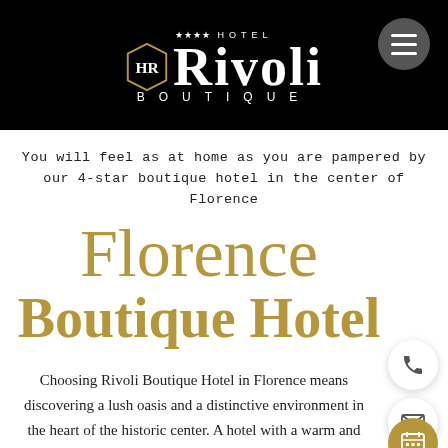[Figure (logo): Hotel Rivoli Boutique 4-star logo with crest on black header bar]
You will feel as at home as you are pampered by our 4-star boutique hotel in the center of Florence
Florence Boutique Hotel
Choosing Rivoli Boutique Hotel in Florence means discovering a lush oasis and a distinctive environment in the heart of the historic center. A hotel with a warm and engaging atmosphere, and a unique design capable of harmonizing antique features with contemporary comfort.